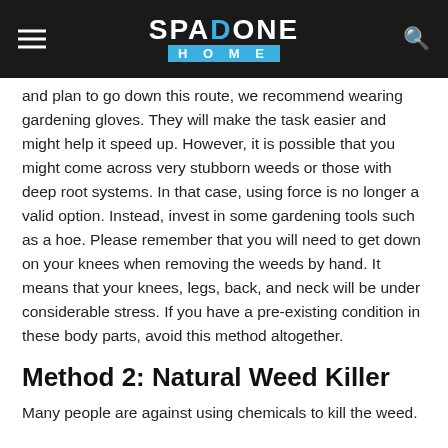SPADONE HOME
and plan to go down this route, we recommend wearing gardening gloves. They will make the task easier and might help it speed up. However, it is possible that you might come across very stubborn weeds or those with deep root systems. In that case, using force is no longer a valid option. Instead, invest in some gardening tools such as a hoe. Please remember that you will need to get down on your knees when removing the weeds by hand. It means that your knees, legs, back, and neck will be under considerable stress. If you have a pre-existing condition in these body parts, avoid this method altogether.
Method 2: Natural Weed Killer
Many people are against using chemicals to kill the weed.